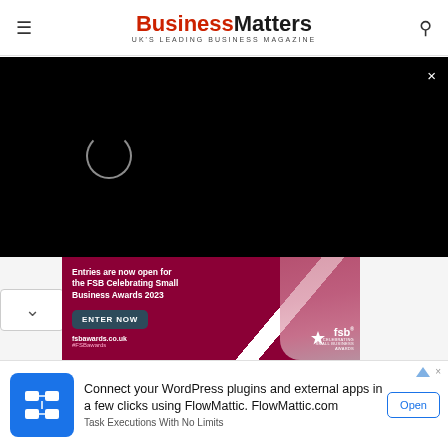Business Matters — UK'S LEADING BUSINESS MAGAZINE
[Figure (screenshot): Video player overlay with black background, loading spinner circle, and white X close button in top-right corner]
[Figure (screenshot): FSB Celebrating Small Business Awards 2023 advertisement banner in dark red/magenta. Text: 'Entries are now open for the FSB Celebrating Small Business Awards 2023'. Button: 'ENTER NOW'. URL: fsbawards.co.uk #FSBawards. FSB logo with star and 'CELEBRATING SMALL BUSINESS AWARDS' text.]
[Figure (screenshot): FlowMattic advertisement. Icon: blue square with white flowchart symbol. Text: 'Connect your WordPress plugins and external apps in a few clicks using FlowMattic. FlowMattic.com'. Subtext: 'Task Executions With No Limits'. Button: 'Open']